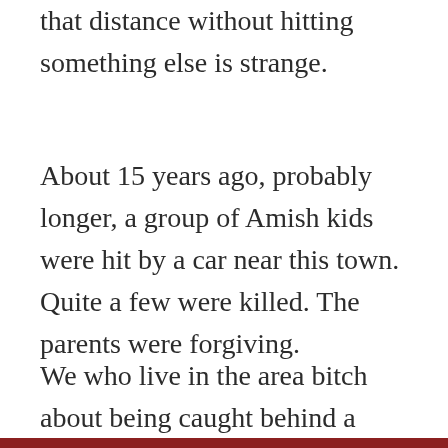that distance without hitting something else is strange.
About 15 years ago, probably longer, a group of Amish kids were hit by a car near this town. Quite a few were killed. The parents were forgiving.
We who live in the area bitch about being caught behind a buggy on the hilly roads, that the Amish are sometime hard